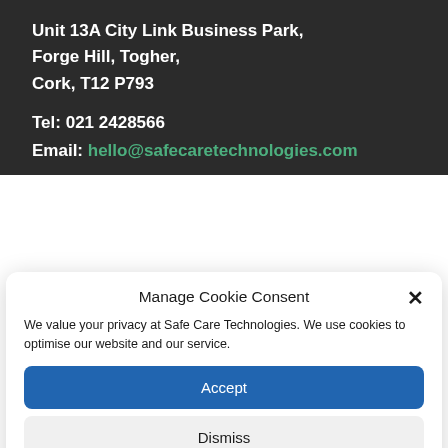Unit 13A City Link Business Park,
Forge Hill, Togher,
Cork, T12 P793
Tel: 021 2428566
Email: hello@safecaretechnologies.com
Manage Cookie Consent
We value your privacy at Safe Care Technologies. We use cookies to optimise our website and our service.
Accept
Dismiss
We're Online!
How may I help you today?